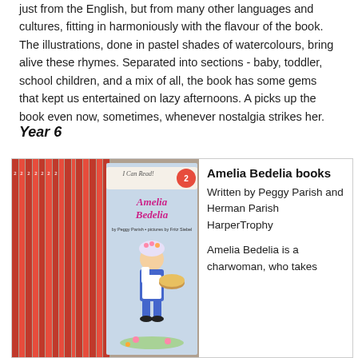just from the English, but from many other languages and cultures, fitting in harmoniously with the flavour of the book. The illustrations, done in pastel shades of watercolours, bring alive these rhymes. Separated into sections - baby, toddler, school children, and a mix of all, the book has some gems that kept us entertained on lazy afternoons. A picks up the book even now, sometimes, whenever nostalgia strikes her.
Year 6
[Figure (photo): Photo of a collection of Amelia Bedelia books (I Can Read! Level 2) by Peggy Parish, pictures by Fritz Siebel, showing multiple copies of the book series with red spines and the main book cover featuring a girl in a maid outfit carrying a pie.]
Amelia Bedelia books
Written by Peggy Parish and Herman Parish
HarperTrophy

Amelia Bedelia is a charwoman, who takes